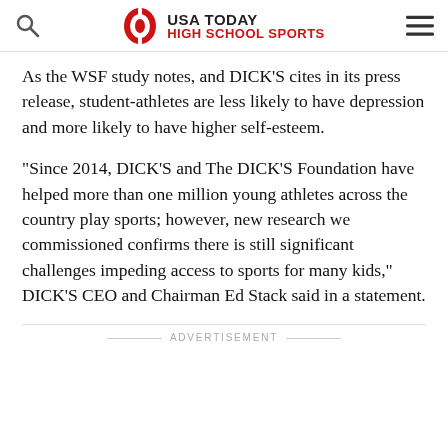USA TODAY HIGH SCHOOL SPORTS
As the WSF study notes, and DICK'S cites in its press release, student-athletes are less likely to have depression and more likely to have higher self-esteem.
“Since 2014, DICK’S and The DICK’S Foundation have helped more than one million young athletes across the country play sports; however, new research we commissioned confirms there is still significant challenges impeding access to sports for many kids,” DICK’S CEO and Chairman Ed Stack said in a statement.
ADVERTISEMENT